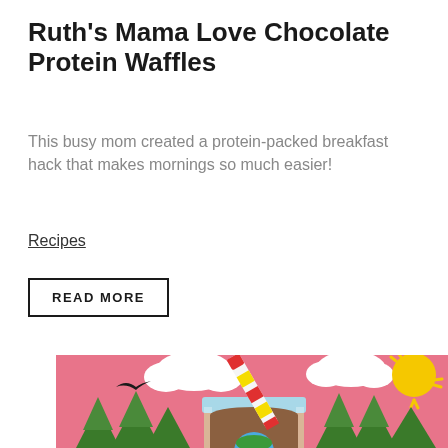Ruth's Mama Love Chocolate Protein Waffles
This busy mom created a protein-packed breakfast hack that makes mornings so much easier!
Recipes
READ MORE
[Figure (illustration): Colorful illustration showing a mason jar smoothie with a striped straw, surrounded by pine trees, a bird in flight, clouds, and a sun against a pink sky background. A globe is visible at the bottom of the jar.]